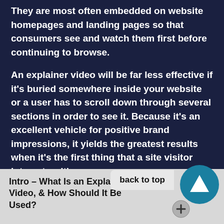They are most often embedded on website homepages and landing pages so that consumers see and watch them first before continuing to browse.

An explainer video will be far less effective if it's buried somewhere inside your website or a user has to scroll down through several sections in order to see it. Because it's an excellent vehicle for positive brand impressions, it yields the greatest results when it's the first thing that a site visitor interacts with.
[Figure (other): Back to top button — circular dark teal/blue button with upward triangle arrow icon, with a 'back to top' label pill]
Intro – What Is an Explainer Video, & How Should It Be Used?